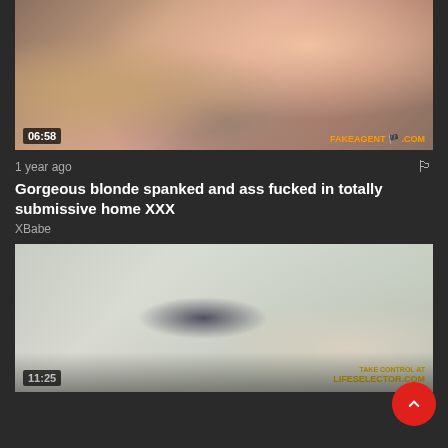[Figure (screenshot): Video thumbnail showing adult content, duration 06:58, watermark FAKEAGENT .COM]
1 year ago
Gorgeous blonde spanked and ass fucked in totally submissive home XXX
XBabe
[Figure (screenshot): Video thumbnail showing a blonde woman in a room with a couch, duration 11:25, watermark TAKE CONTROL AT LIFESELECTOR.COM]
11:25
TAKE CONTROL AT LIFESELECTOR.COM